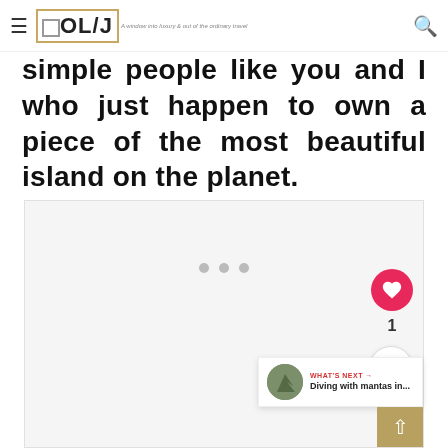OL/J — A window into luxury & out of the ordinary travel
simple people like you and I who just happen to own a piece of the most beautiful island on the planet.
[Figure (photo): Placeholder image area with carousel dots at bottom]
WHAT'S NEXT → Diving with mantas in...